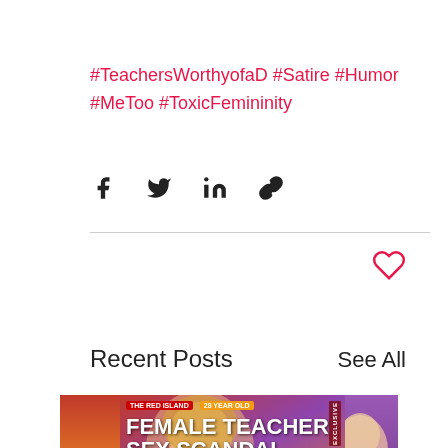#TeachersWorthyofaD #Satire #Humor #MeToo #ToxicFemininity
[Figure (other): Social share buttons: Facebook, Twitter, LinkedIn, and link icons]
[Figure (other): Heart/like icon (outline) in salmon/coral color]
Recent Posts
See All
[Figure (photo): Three thumbnail images for recent posts. Center image shows a woman with a small dog against a colorful background with text overlay reading 'THE RED ISLAND 28 YEAR OLD FEMALE TEACHER SEX SCANDAL KRISTINE knizner EXCLUSIVE']